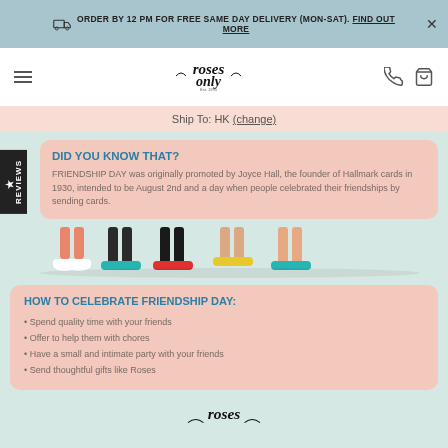ORDER BY 12 PM FOR FREE SAME DAY DELIVERY (MON-SAT). FIND OUT MORE
[Figure (logo): Roses Only logo - roses only est 1995 stylized text with roses]
Ship To: HK (change)
DID YOU KNOW THAT?
FRIENDSHIP DAY was originally promoted by Joyce Hall, the founder of Hallmark cards in 1930, intended to be August 2nd and a day when people celebrated their friendships by sending cards.
[Figure (illustration): Colorful illustration showing legs of people standing together, representing friendship]
HOW TO CELEBRATE FRIENDSHIP DAY:
Spend quality time with your friends
Offer to help them with chores
Have a small and intimate party with your friends
Send thoughtful gifts like Roses
[Figure (logo): Roses Only logo at bottom of page]